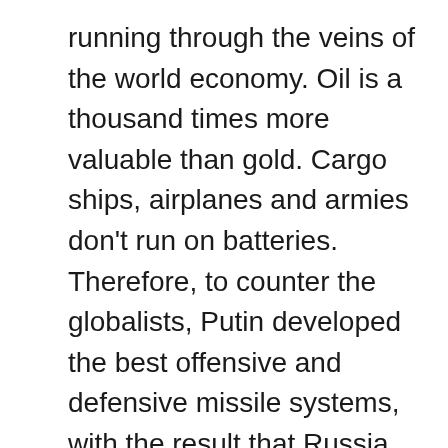running through the veins of the world economy. Oil is a thousand times more valuable than gold. Cargo ships, airplanes and armies don't run on batteries. Therefore, to counter the globalists, Putin developed the best offensive and defensive missile systems, with the result that Russia can now protect every independent oil producer such as Syria, Venezuela and Iran. Central bankers and the US shadow government are still hanging on to their dying plan, because without a victory in Syria, there's no enlarging Israel, thus ending the century-old fantasy of uniting the